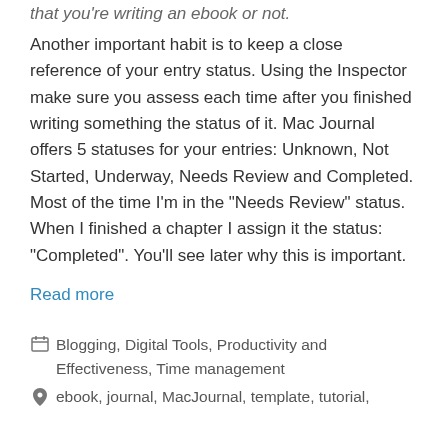that you're writing an ebook or not.
Another important habit is to keep a close reference of your entry status. Using the Inspector make sure you assess each time after you finished writing something the status of it. Mac Journal offers 5 statuses for your entries: Unknown, Not Started, Underway, Needs Review and Completed. Most of the time I'm in the “Needs Review” status. When I finished a chapter I assign it the status: “Completed”. You’ll see later why this is important.
Read more
Blogging, Digital Tools, Productivity and Effectiveness, Time management
ebook, journal, MacJournal, template, tutorial,